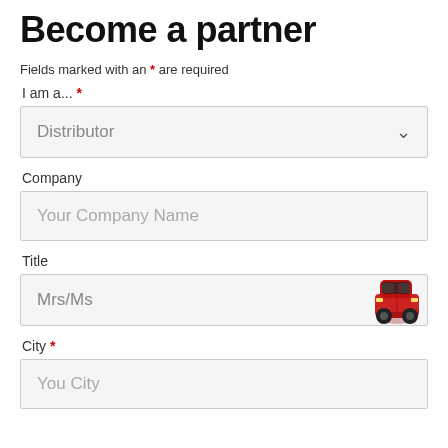Become a partner
Fields marked with an * are required
I am a... *
Distributor (dropdown)
Company
Your Company Name (placeholder)
Title
Mrs/Ms (dropdown)
City *
You City (placeholder)